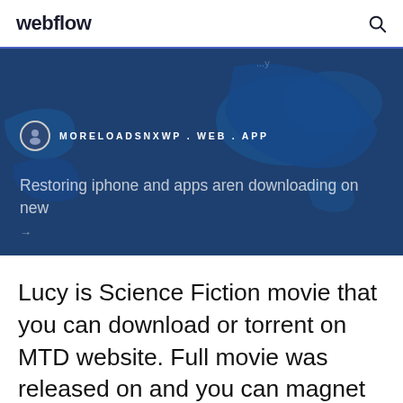webflow
[Figure (screenshot): Blue banner with world map background showing a website card for moreloadsnxwp.web.app with text 'Restoring iphone and apps aren downloading on new']
Lucy is Science Fiction movie that you can download or torrent on MTD website. Full movie was released on and you can magnet link it with 1080p resolution and BluRay quality. 16 Mar